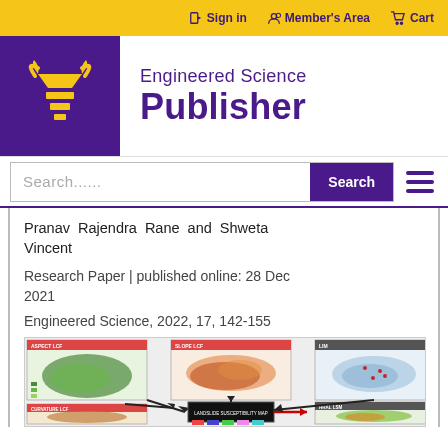Sign in  Member's Area  Cart
[Figure (logo): Engineered Science Publisher logo — gold bull horns and chevron on purple background]
Engineered Science Publisher
Search......
Pranav Rajendra Rane and Shweta Vincent
Research Paper | published online: 28 Dec 2021
Engineered Science, 2022, 17, 142-155
[Figure (map): Composite figure showing ASPECT LCF, SLOPE LCF, LIM, CURVATURE LCF, and HRAL LSM maps with arrows indicating workflow connections between them.]